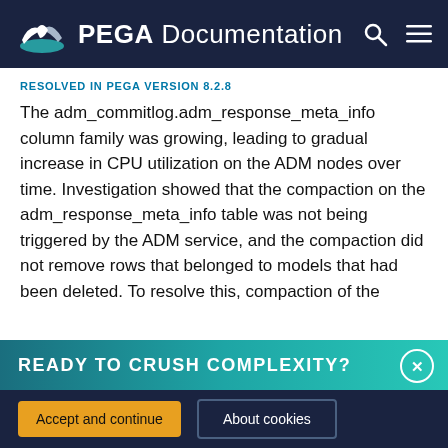PEGA Documentation
RESOLVED IN PEGA VERSION 8.2.8
The adm_commitlog.adm_response_meta_info column family was growing, leading to gradual increase in CPU utilization on the ADM nodes over time. Investigation showed that the compaction on the adm_response_meta_info table was not being triggered by the ADM service, and the compaction did not remove rows that belonged to models that had been deleted. To resolve this, compaction of the
READY TO CRUSH COMPLEXITY?
By using this site, you agree to the use of cookies. Read our Privacy Policy
Accept and continue
About cookies